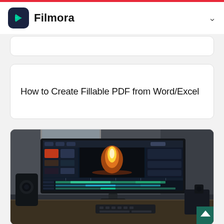Filmora
How to Create Fillable PDF from Word/Excel
[Figure (screenshot): A dark studio desk setup showing a wide curved monitor displaying Filmora video editing software with a fire/flame effect visible in the video preview. Timeline tracks visible at the bottom of the monitor. Studio speakers visible on the left side.]